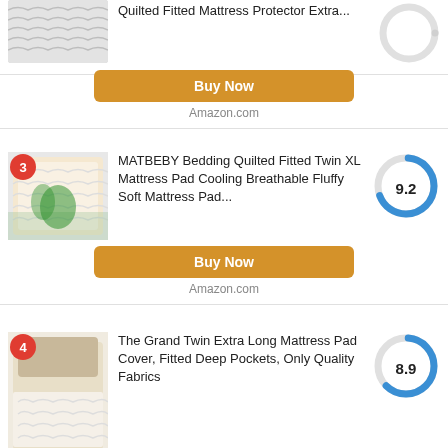Quilted Fitted Mattress Protector Extra...
Buy Now
Amazon.com
MATBEBY Bedding Quilted Fitted Twin XL Mattress Pad Cooling Breathable Fluffy Soft Mattress Pad...
9.2
Buy Now
Amazon.com
The Grand Twin Extra Long Mattress Pad Cover, Fitted Deep Pockets, Only Quality Fabrics
8.9